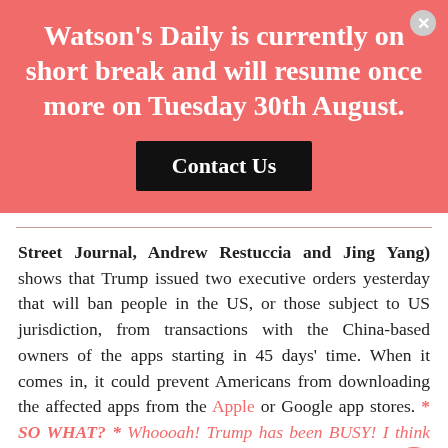Watson's Daily is currently on short break and will resume once more on Tuesday 30th August.
Contact Us
Street Journal, Andrew Restuccia and Jing Yang) shows that Trump issued two executive orders yesterday that will ban people in the US, or those subject to US jurisdiction, from transactions with the China-based owners of the apps starting in 45 days' time. When it comes in, it could prevent Americans from downloading the affected apps from the Apple or Google app stores. * SO WHAT? * Whoooah! Trump has been BUSY! I think that making all these announcements at the same time makes a statement to his fellow Americans. He clearly